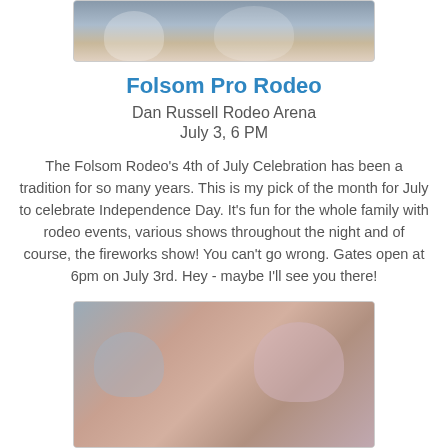[Figure (photo): Partial photo of people at the top of the page, cropped]
Folsom Pro Rodeo
Dan Russell Rodeo Arena
July 3, 6 PM
The Folsom Rodeo's 4th of July Celebration has been a tradition for so many years. This is my pick of the month for July to celebrate Independence Day. It's fun for the whole family with rodeo events, various shows throughout the night and of course, the fireworks show! You can't go wrong. Gates open at 6pm on July 3rd. Hey - maybe I'll see you there!
[Figure (photo): Photo of a young girl wearing a pink hat at a crowded outdoor event]